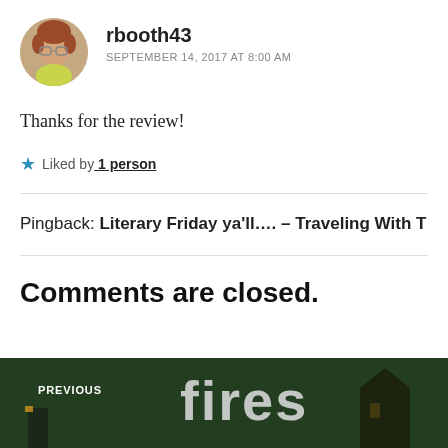[Figure (photo): Circular avatar photo of a woman with glasses and short reddish-brown hair]
rbooth43
SEPTEMBER 14, 2017 AT 8:00 AM
Thanks for the review!
★ Liked by 1 person
Pingback: Literary Friday ya'll.... – Traveling With T
Comments are closed.
[Figure (photo): Navigation banner image showing a dark green background with large text 'fires' visible, with a small building silhouette. Labeled PREVIOUS at the bottom left.]